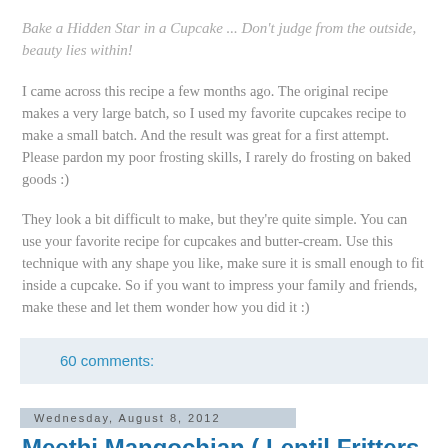Bake a Hidden Star in a Cupcake ... Don't judge from the outside, beauty lies within!
I came across this recipe a few months ago. The original recipe makes a very large batch, so I used my favorite cupcakes recipe to make a small batch. And the result was great for a first attempt. Please pardon my poor frosting skills, I rarely do frosting on baked goods :)
They look a bit difficult to make, but they're quite simple. You can use your favorite recipe for cupcakes and butter-cream. Use this technique with any shape you like, make sure it is small enough to fit inside a cupcake. So if you want to impress your family and friends, make these and let them wonder how you did it :)
60 comments:
Wednesday, August 8, 2012
Meethi Mangochian ( Lentil Fritters in